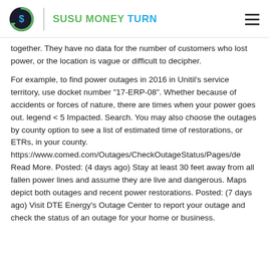SUSU MONEY TURN
together. They have no data for the number of customers who lost power, or the location is vague or difficult to decipher.
For example, to find power outages in 2016 in Unitil's service territory, use docket number "17-ERP-08". Whether because of accidents or forces of nature, there are times when your power goes out. legend < 5 Impacted. Search. You may also choose the outages by county option to see a list of estimated time of restorations, or ETRs, in your county. https://www.comed.com/Outages/CheckOutageStatus/Pages/de Read More. Posted: (4 days ago) Stay at least 30 feet away from all fallen power lines and assume they are live and dangerous. Maps depict both outages and recent power restorations. Posted: (7 days ago) Visit DTE Energy's Outage Center to report your outage and check the status of an outage for your home or business.